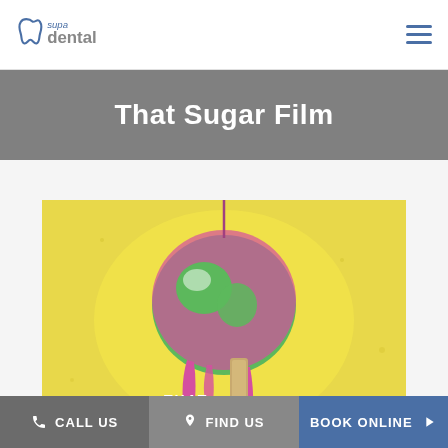supa dental
That Sugar Film
[Figure (photo): That Sugar Film movie poster showing a green apple dipped in pink/red sugar coating on a yellow background with the film title 'That Sugar Film' displayed]
CALL US   FIND US   BOOK ONLINE